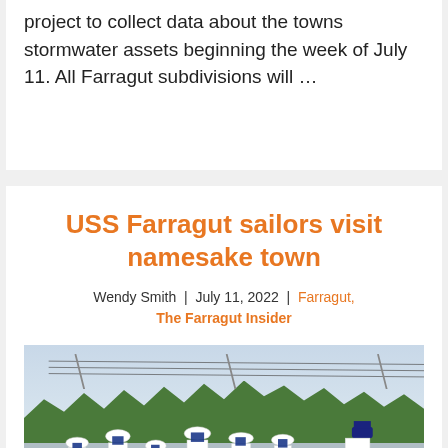project to collect data about the towns stormwater assets beginning the week of July 11. All Farragut subdivisions will …
USS Farragut sailors visit namesake town
Wendy Smith | July 11, 2022 | Farragut, The Farragut Insider
[Figure (photo): USS Farragut sailors in white uniforms and a commanding officer marching in a parade along a street lined with trees and utility poles.]